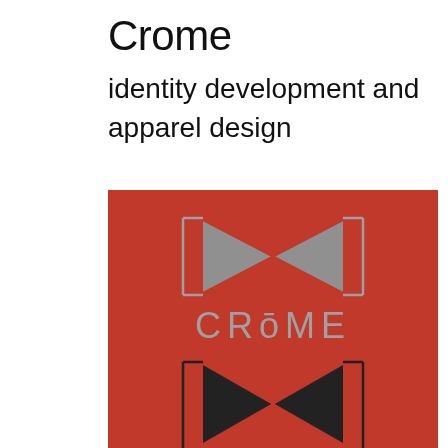Crome
identity development and apparel design
[Figure (logo): Crome brand logo on a red background. Top portion shows a bow-tie / hourglass shaped logo mark made of geometric triangles in grey/silver color with bracket-like frame lines, with the text 'CROME' in grey below it (O has a macron accent). Bottom portion (partially visible) shows a similar bow-tie logo mark in dark/black on the same red background.]